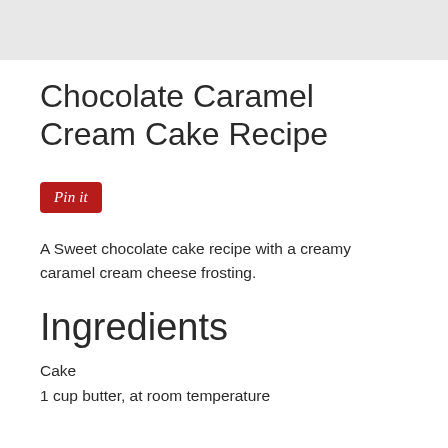Chocolate Caramel Cream Cake Recipe
[Figure (other): Pin it button - red rounded rectangle button with italic white text 'Pin it']
A Sweet chocolate cake recipe with a creamy caramel cream cheese frosting.
Ingredients
Cake
1 cup butter, at room temperature